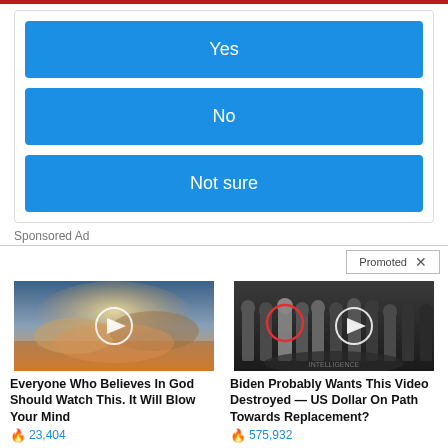Yes
No
Not sure
Sponsored Ad
Promoted ×
[Figure (photo): Video thumbnail showing cloudy sky with light rays, play button overlay]
Everyone Who Believes In God Should Watch This. It Will Blow Your Mind
🔥 23,404
[Figure (photo): Video thumbnail showing group of people standing in a room with CIA seal on floor, one person circled in red, play button overlay]
Biden Probably Wants This Video Destroyed — US Dollar On Path Towards Replacement?
🔥 575,932